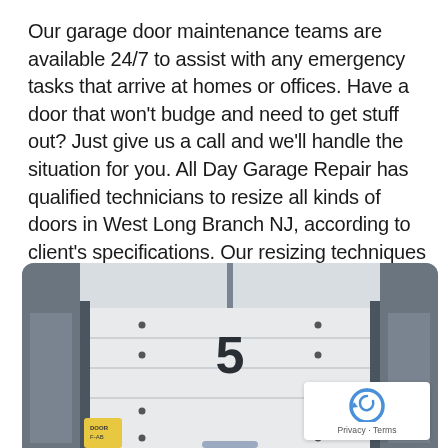Our garage door maintenance teams are available 24/7 to assist with any emergency tasks that arrive at homes or offices. Have a door that won't budge and need to get stuff out? Just give us a call and we'll handle the situation for you. All Day Garage Repair has qualified technicians to resize all kinds of doors in West Long Branch NJ, according to client's specifications. Our resizing techniques distinguish us from the rest.
[Figure (photo): Photograph of commercial garage doors in an industrial facility. A large white sectional door with the number '5' on it is visible in the center, flanked by dark grey structural columns and side door frames. Yellow equipment visible at the bottom left.]